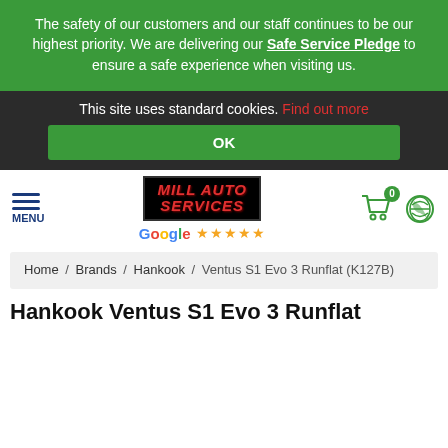The safety of our customers and our staff continues to be our highest priority. We are delivering our Safe Service Pledge to ensure a safe experience when visiting us.
This site uses standard cookies. Find out more
OK
[Figure (logo): Mill Auto Services logo with Google 5-star rating, menu icon, cart icon, and phone icon]
Home / Brands / Hankook / Ventus S1 Evo 3 Runflat (K127B)
Hankook Ventus S1 Evo 3 Runflat